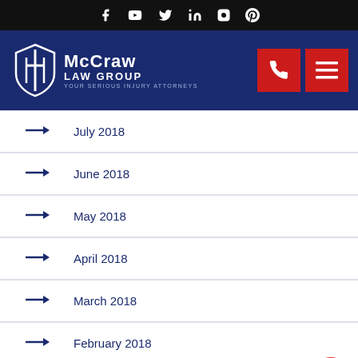[Figure (screenshot): Social media icons bar (Facebook, YouTube, Twitter, LinkedIn, Instagram, Pinterest) on black background]
[Figure (logo): McCraw Law Group logo with shield/sword icon on dark navy background, with phone and menu buttons]
July 2018
June 2018
May 2018
April 2018
March 2018
February 2018
January 2018